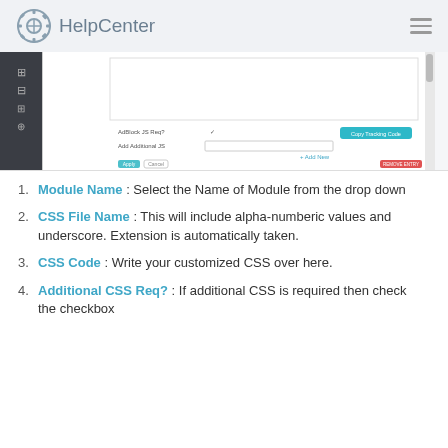HelpCenter
[Figure (screenshot): Screenshot of a HelpCenter admin interface showing CSS/module configuration fields with 'Copy Tracking Code' button and 'Add New' link, with Apply and Cancel buttons at bottom.]
Module Name : Select the Name of Module from the drop down
CSS File Name : This will include alpha-numberic values and underscore. Extension is automatically taken.
CSS Code : Write your customized CSS over here.
Additional CSS Req? : If additional CSS is required then check the checkbox